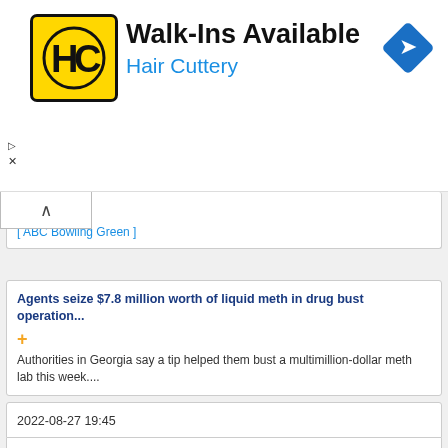[Figure (logo): Hair Cuttery advertisement banner with HC logo, 'Walk-Ins Available' title, 'Hair Cuttery' subtitle in blue, and a blue navigation diamond icon]
WBKO  [ ABC Bowling Green ]
Agents seize $7.8 million worth of liquid meth in drug bust operation... + Authorities in Georgia say a tip helped them bust a multimillion-dollar meth lab this week....
2022-08-27 19:45
WBKO  [ ABC Bowling Green ]
Tentative Agreement with Cleveland-Cliffs Rewards Essential Steelworkers... +